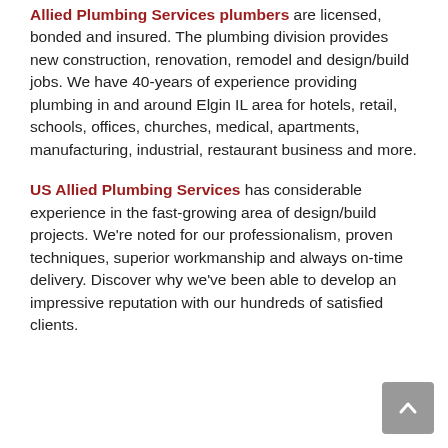Allied Plumbing Services plumbers are licensed, bonded and insured. The plumbing division provides new construction, renovation, remodel and design/build jobs. We have 40-years of experience providing plumbing in and around Elgin IL area for hotels, retail, schools, offices, churches, medical, apartments, manufacturing, industrial, restaurant business and more.
US Allied Plumbing Services has considerable experience in the fast-growing area of design/build projects. We're noted for our professionalism, proven techniques, superior workmanship and always on-time delivery. Discover why we've been able to develop an impressive reputation with our hundreds of satisfied clients.